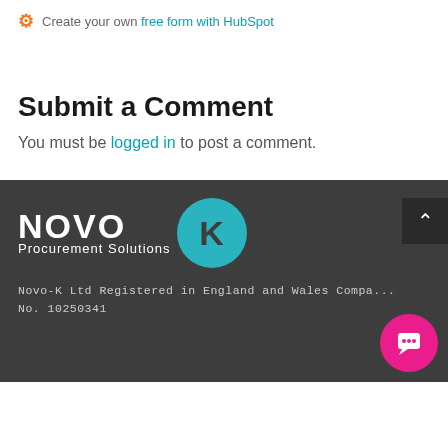Create your own free form with HubSpot
Submit a Comment
You must be logged in to post a comment.
[Figure (logo): Novo-K Procurement Solutions logo: white NOVO text with teal circle containing dark K letter, on dark grey background]
Novo-K Ltd Registered in England and Wales Company No. 10250341